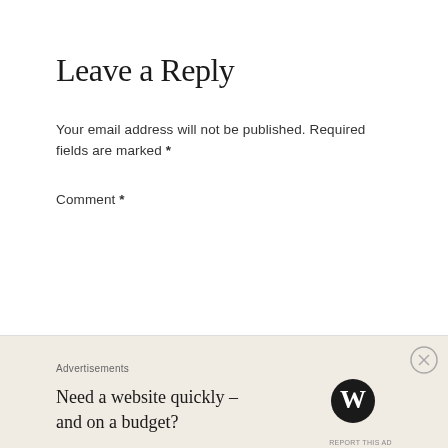Leave a Reply
Your email address will not be published. Required fields are marked *
Comment *
Name *
[Figure (screenshot): WordPress advertisement banner at bottom: 'Need a website quickly – and on a budget?' with WordPress logo and close button]